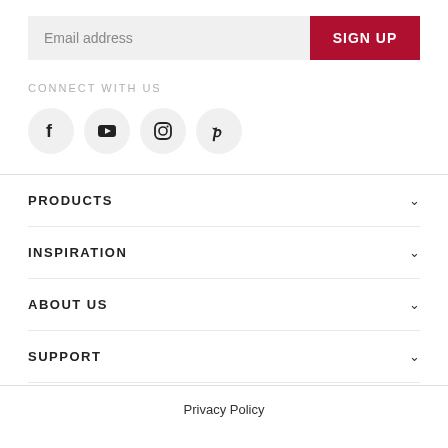Email address
SIGN UP
CONNECT WITH US
[Figure (illustration): Four social media icons in circles: Facebook, YouTube, Instagram, Pinterest]
PRODUCTS
INSPIRATION
ABOUT US
SUPPORT
Privacy Policy